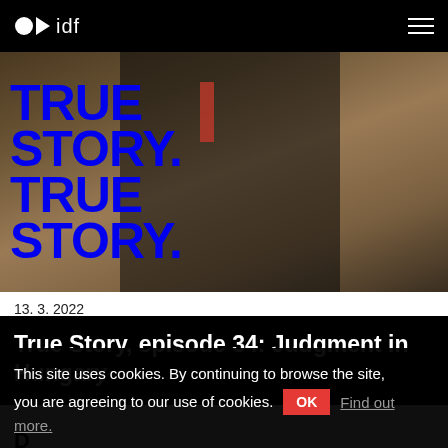idf
[Figure (photo): A person in a black judicial robe holding two dark objects (shoes), with blue bold text overlay reading TRUE STORY. TRUE STORY. in the foreground]
13. 3. 2022
True Story, episode 34: Judgment in Hungary
D
This site uses cookies. By continuing to browse the site, you are agreeing to our use of cookies. OK Find out more.